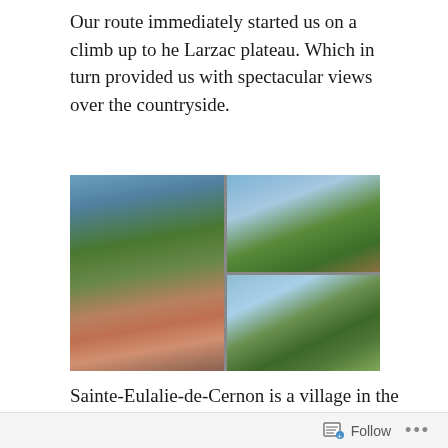Our route immediately started us on a climb up to he Larzac plateau. Which in turn provided us with spectacular views over the countryside.
[Figure (photo): Four photos arranged in a 2x2 grid showing landscape views: top-left shows hills and trees, top-right shows a town with mountains behind it, bottom-left shows a hill with trees, bottom-right shows a panoramic town view with rooftops and a mountain backdrop.]
Sainte-Eulalie-de-Cernon is a village in the Aveyron department in southern France. Here is a little background courtesy of the official tourism website of Aveyron.
Follow ...